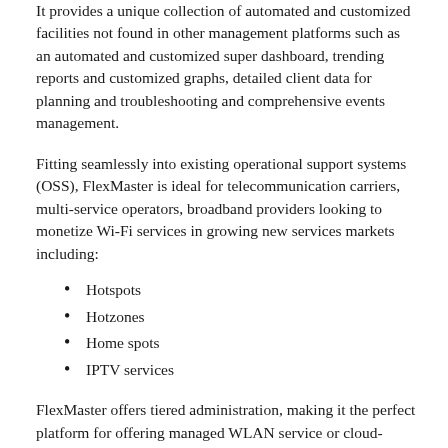It provides a unique collection of automated and customized facilities not found in other management platforms such as an automated and customized super dashboard, trending reports and customized graphs, detailed client data for planning and troubleshooting and comprehensive events management.
Fitting seamlessly into existing operational support systems (OSS), FlexMaster is ideal for telecommunication carriers, multi-service operators, broadband providers looking to monetize Wi-Fi services in growing new services markets including:
Hotspots
Hotzones
Home spots
IPTV services
FlexMaster offers tiered administration, making it the perfect platform for offering managed WLAN service or cloud-based WLAN management services.
This allows end customers to remotely view, securely control, easily manage and automatically configure only their network infrastructure and assets. FlexMaster lets enterprises of all sizes securely control, monitor, and upgrade Smart Wi-Fi systems